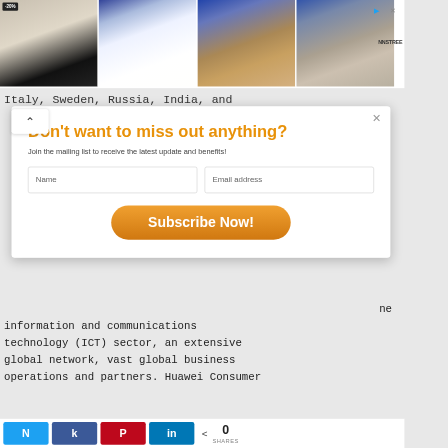[Figure (screenshot): Advertisement banner showing four shoe products: black loafer with gold buckle (-20% tag), white lace-up boots, gold sandals with ankle strap, gray ankle boots. NNSTREE logo visible top right.]
Italy, Sweden, Russia, India, and
[Figure (screenshot): Modal popup dialog with orange title 'Don't want to miss out anything?', subtitle 'Join the mailing list to receive the latest update and benefits!', Name and Email address input fields, and an orange 'Subscribe Now!' button. X close button top right. Chevron up arrow top left.]
ne
information and communications
technology (ICT) sector, an extensive
global network, vast global business
operations and partners. Huawei Consumer
[Figure (screenshot): Social share bar with Twitter, Facebook, Pinterest, and LinkedIn buttons, and a share count showing 0 SHARES.]